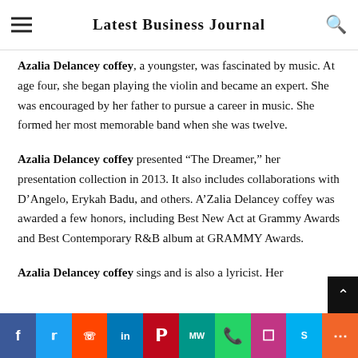Latest Business Journal
Azalia Delancey coffey, a youngster, was fascinated by music. At age four, she began playing the violin and became an expert. She was encouraged by her father to pursue a career in music. She formed her most memorable band when she was twelve.
Azalia Delancey coffey presented “The Dreamer,” her presentation collection in 2013. It also includes collaborations with D’Angelo, Erykah Badu, and others. A’Zalia Delancey coffey was awarded a few honors, including Best New Act at Grammy Awards and Best Contemporary R&B album at GRAMMY Awards.
Azalia Delancey coffey sings and is also a lyricist. Her